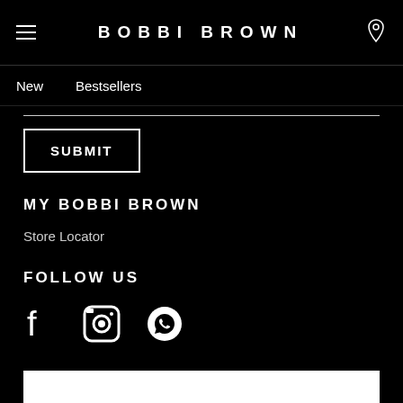BOBBI BROWN
New   Bestsellers
SUBMIT
MY BOBBI BROWN
Store Locator
FOLLOW US
[Figure (illustration): Social media icons: Facebook, Instagram, WhatsApp]